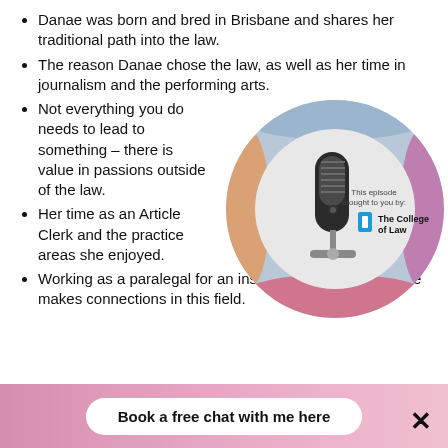Danae was born and bred in Brisbane and shares her traditional path into the law.
The reason Danae chose the law, as well as her time in journalism and the performing arts.
Not everything you do needs to lead to something – there is value in passions outside of the law.
[Figure (photo): A circular podcast-style image showing a blue microphone with a floral border, with text reading 'This episode brought to you by: The College of Law' and the College of Law logo.]
Her time as an Article Clerk and the practice areas she enjoyed.
Working as a paralegal for an insurance firm and how she makes connections in this field.
Book a free chat with me here